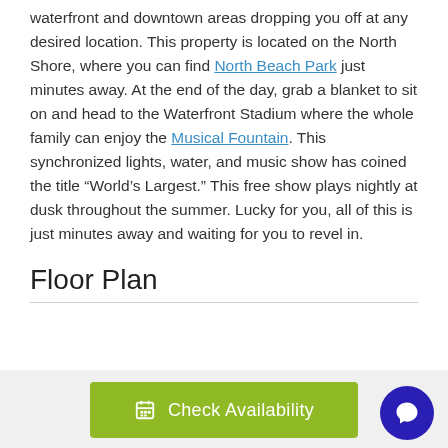waterfront and downtown areas dropping you off at any desired location. This property is located on the North Shore, where you can find North Beach Park just minutes away. At the end of the day, grab a blanket to sit on and head to the Waterfront Stadium where the whole family can enjoy the Musical Fountain. This synchronized lights, water, and music show has coined the title "World's Largest." This free show plays nightly at dusk throughout the summer. Lucky for you, all of this is just minutes away and waiting for you to revel in.
Floor Plan